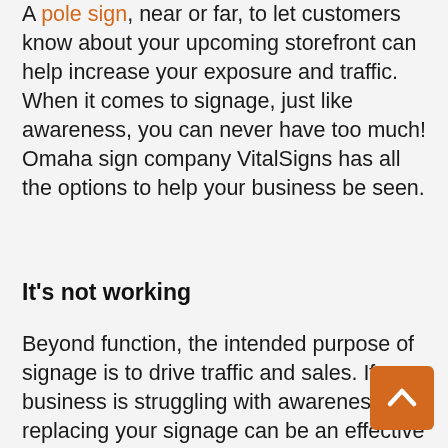A pole sign, near or far, to let customers know about your upcoming storefront can help increase your exposure and traffic. When it comes to signage, just like awareness, you can never have too much! Omaha sign company VitalSigns has all the options to help your business be seen.
It's not working
Beyond function, the intended purpose of signage is to drive traffic and sales. If your business is struggling with awareness, replacing your signage can be an effective way to expand your brand's reach. Your personal or company vehicle could be your best advertising tool. With vehicle graphics, decals and wraps that are easily installed, you can advertise on the go. This way you